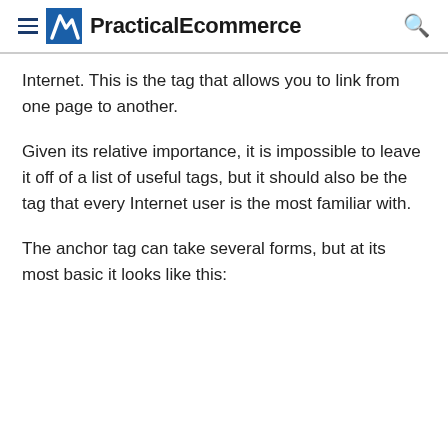PracticalEcommerce
Internet. This is the tag that allows you to link from one page to another.
Given its relative importance, it is impossible to leave it off of a list of useful tags, but it should also be the tag that every Internet user is the most familiar with.
The anchor tag can take several forms, but at its most basic it looks like this: